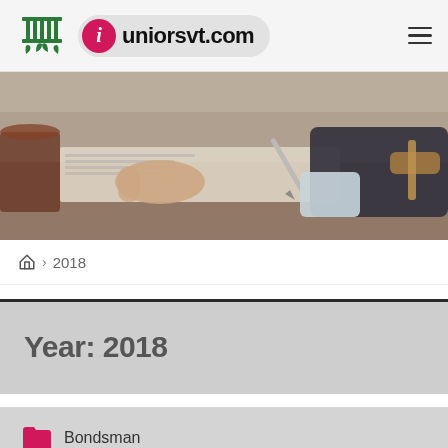juniorsvt.com
[Figure (photo): A person signing documents at a desk with a gavel and legal items visible]
Home > 2018
Year: 2018
Bondsman